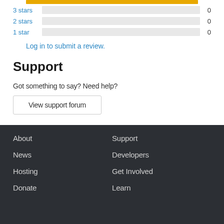[Figure (bar-chart): Star ratings]
Log in to submit a review.
Support
Got something to say? Need help?
View support forum
About
News
Hosting
Donate
Support
Developers
Get Involved
Learn